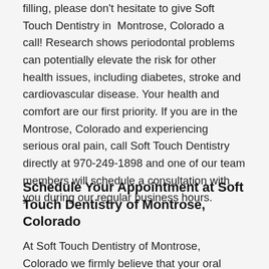filling, please don't hesitate to give Soft Touch Dentistry in Montrose, Colorado a call! Research shows periodontal problems can potentially elevate the risk for other health issues, including diabetes, stroke and cardiovascular disease. Your health and comfort are our first priority. If you are in the Montrose, Colorado and experiencing serious oral pain, call Soft Touch Dentistry directly at 970-249-1898 and one of our team members will schedule a consultation with you during our regular business hours.
Schedule Your Appointment at Soft Touch Dentistry of Montrose, Colorado
At Soft Touch Dentistry of Montrose, Colorado we firmly believe that your oral health directly affects